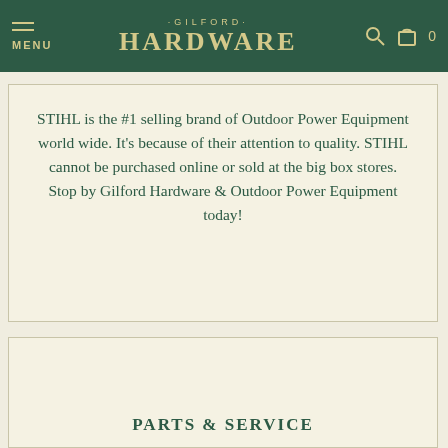MENU · GILFORD · HARDWARE [search icon] [cart] 0
STIHL is the #1 selling brand of Outdoor Power Equipment world wide. It's because of their attention to quality. STIHL cannot be purchased online or sold at the big box stores. Stop by Gilford Hardware & Outdoor Power Equipment today!
PARTS & SERVICE